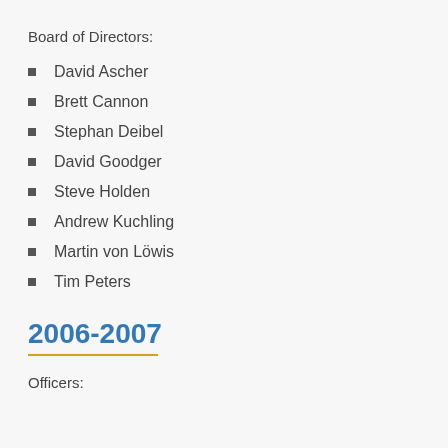Board of Directors:
David Ascher
Brett Cannon
Stephan Deibel
David Goodger
Steve Holden
Andrew Kuchling
Martin von Löwis
Tim Peters
2006-2007
Officers: